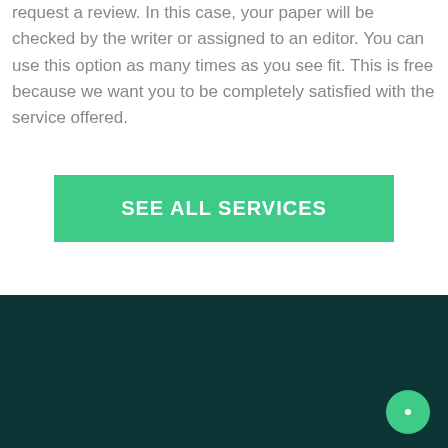request a review. In this case, your paper will be checked by the writer or assigned to an editor. You can use this option as many times as you see fit. This is free because we want you to be completely satisfied with the service offered.
SEE ALL SERVICES
MAIN LINKS
ional Writers
Research Paper